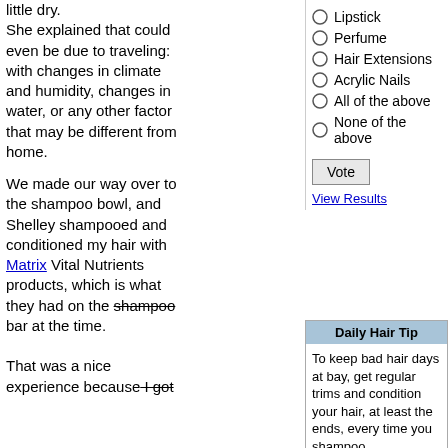little dry. She explained that could even be due to traveling: with changes in climate and humidity, changes in water, or any other factor that may be different from home.
Lipstick
Perfume
Hair Extensions
Acrylic Nails
All of the above
None of the above
Vote
View Results
We made our way over to the shampoo bowl, and Shelley shampooed and conditioned my hair with Matrix Vital Nutrients products, which is what they had on the shampoo bar at the time. That was a nice experience because I got
Daily Hair Tip
To keep bad hair days at bay, get regular trims and condition your hair, at least the ends, every time you shampoo.